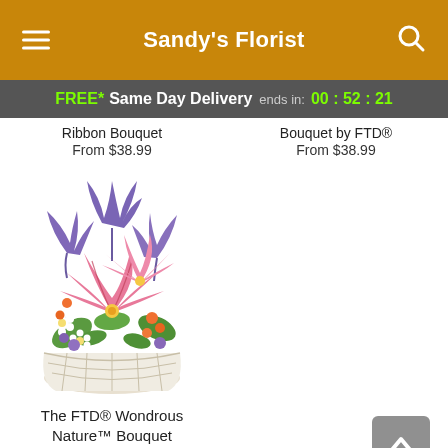Sandy's Florist
FREE* Same Day Delivery ends in: 00:52:21
Ribbon Bouquet
From $38.99
Bouquet by FTD®
From $38.99
[Figure (photo): A floral arrangement in a white wicker basket featuring pink stargazer lilies, purple iris, white daisies, and small orange flowers with green foliage.]
The FTD® Wondrous Nature™ Bouquet
From $53.99